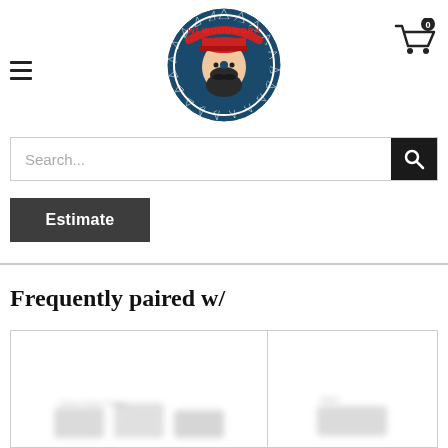[Figure (logo): WI Woodworx logo — circular saw blade with a bearded man wearing a red cap in the center, text 'WI WOODWORX' around the top]
[Figure (other): Shopping cart icon with a badge showing '0']
[Figure (other): Search bar with placeholder text 'Search...' and a dark search button with magnifying glass icon]
Estimate
Frequently paired w/
[Figure (photo): Two product cards side by side showing blurred product images — left card larger, right card smaller]